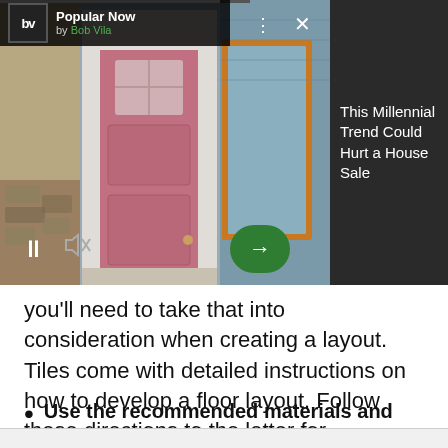[Figure (screenshot): Video overlay showing a house with pink front door. Contains 'Popular Now by Bob Vila' branding in top left, close button, progress bar, pause and mute controls, and a green next arrow button. Dark panel on right shows text 'This Millennial Trend Could Hurt a House Sale'.]
you'll need to take that into consideration when creating a layout. Tiles come with detailed instructions on how to develop a floor layout. Follow these directions to the letter for professional looking results.
Use the recommended materials and tools.